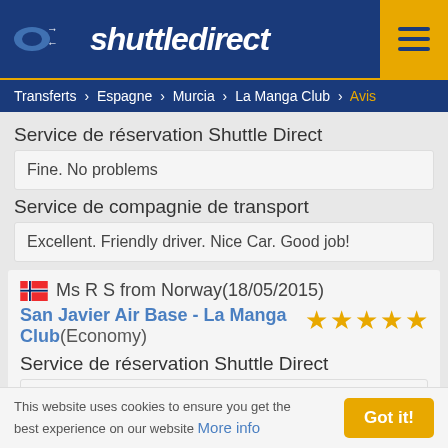shuttledirect
Transferts > Espagne > Murcia > La Manga Club > Avis
Service de réservation Shuttle Direct
Fine. No problems
Service de compagnie de transport
Excellent. Friendly driver. Nice Car. Good job!
Ms R S from Norway(18/05/2015)
San Javier Air Base - La Manga Club(Economy)
Service de réservation Shuttle Direct
Very good
Service de compagnie de transport
This website uses cookies to ensure you get the best experience on our website More info
Got it!